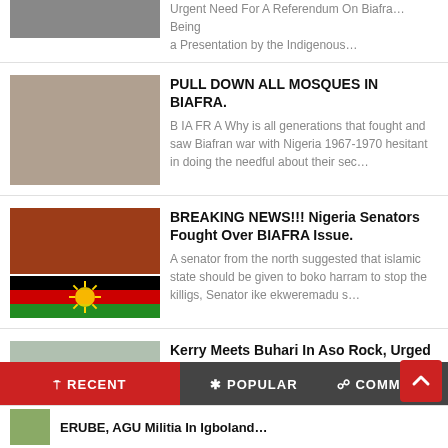Urgent Need For A Referendum On Biafra... Being a Presentation by the Indigenous...
PULL DOWN ALL MOSQUES IN BIAFRA.
B IA FR A Why is all generations that fought and saw Biafran war with Nigeria 1967-1970 hesitant in doing the needful about their sec...
BREAKING NEWS!!! Nigeria Senators Fought Over BIAFRA Issue.
A senator from the north suggested that islamic state should be given to boko harram to stop the killigs, Senator ike ekweremadu s...
Kerry Meets Buhari In Aso Rock, Urged Him To Release Nnamdi Kanu And Let Biafrans Go
The US secretary of state John Kerry visited Nigeria amid heavy economic and political crisis, his visit proves problematic for Buhari in...
RECENT
POPULAR
COMMENTS
ERUBE, AGU Militia In Igboland...